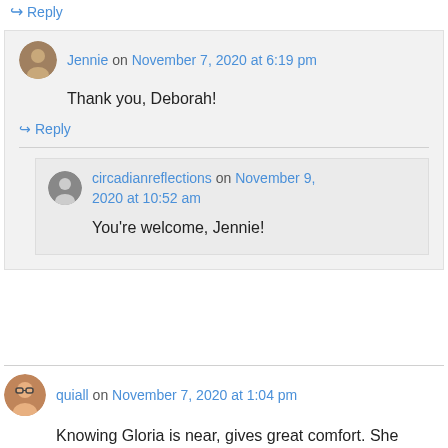↪ Reply
Jennie on November 7, 2020 at 6:19 pm
Thank you, Deborah!
↪ Reply
circadianreflections on November 9, 2020 at 10:52 am
You're welcome, Jennie!
quiall on November 7, 2020 at 1:04 pm
Knowing Gloria is near, gives great comfort. She